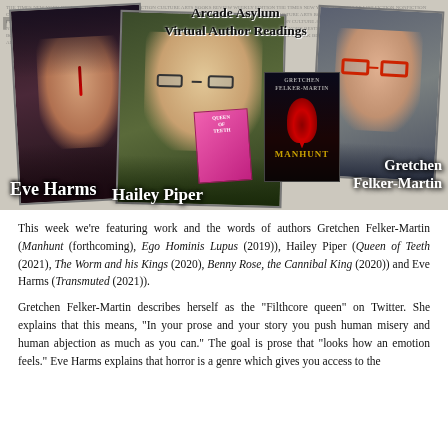[Figure (photo): Collage of three author photos: Eve Harms (left, dramatic makeup with gothic look), Hailey Piper (center, curly blond hair and glasses), Gretchen Felker-Martin (right, red glasses). Text overlays read 'Arcade Asylum Virtual Author Readings', 'Eve Harms', 'Hailey Piper', 'Gretchen Felker-Martin'. A book cover for 'Manhunt' by Gretchen Felker-Martin is visible on the right, and a small pink book held by Hailey Piper is visible in center.]
This week we’re featuring work and the words of authors Gretchen Felker-Martin (Manhunt (forthcoming), Ego Hominis Lupus (2019)), Hailey Piper (Queen of Teeth (2021), The Worm and his Kings (2020), Benny Rose, the Cannibal King (2020)) and Eve Harms (Transmuted (2021)).
Gretchen Felker-Martin describes herself as the “Filthcore queen” on Twitter. She explains that this means, “In your prose and your story you push human misery and human abjection as much as you can.” The goal is prose that “looks how an emotion feels.” Eve Harms explains that horror is a genre which gives you access to the